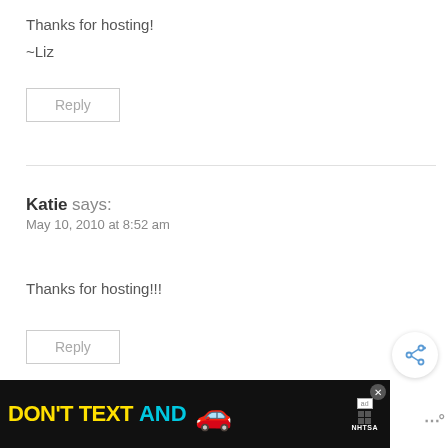Thanks for hosting!
~Liz
Reply
Katie says:
May 10, 2010 at 8:52 am
Thanks for hosting!!!
Reply
[Figure (other): Share button icon (circular button with share/network icon)]
[Figure (other): What's Next promo: thumbnail image with text 'WHAT'S NEXT → Rustic Wood Slice...']
[Figure (other): Advertisement banner: DON'T TEXT AND [car emoji] with ad badge and NHTSA logo]